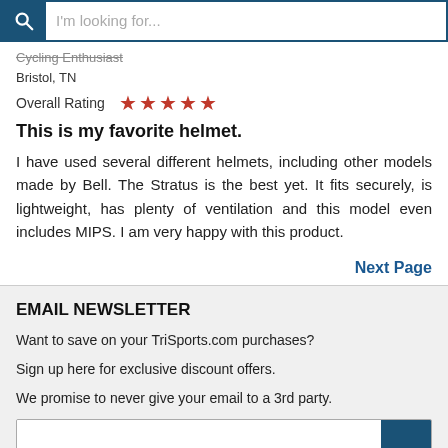[Figure (screenshot): Search bar with magnifying glass icon and placeholder text 'I'm looking for...']
Cycling Enthusiast
Bristol, TN
Overall Rating ★★★★★
This is my favorite helmet.
I have used several different helmets, including other models made by Bell. The Stratus is the best yet. It fits securely, is lightweight, has plenty of ventilation and this model even includes MIPS. I am very happy with this product.
Next Page
EMAIL NEWSLETTER
Want to save on your TriSports.com purchases?
Sign up here for exclusive discount offers.
We promise to never give your email to a 3rd party.